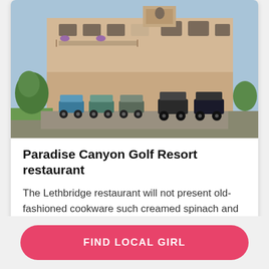[Figure (photo): Golf resort building exterior with golf carts parked in front, beige multi-story building with balconies and trees]
Paradise Canyon Golf Resort restaurant
The Lethbridge restaurant will not present old-fashioned cookware such creamed spinach and shrimp cocktail. Instead, they deliver brighter les, the bread that is best, desserts, and more. expecting top-rate solutions that leaves you oming valued.
[Figure (infographic): Circular badge overlay showing 43% with upward chevron arrow in pink/red]
FIND LOCAL GIRL